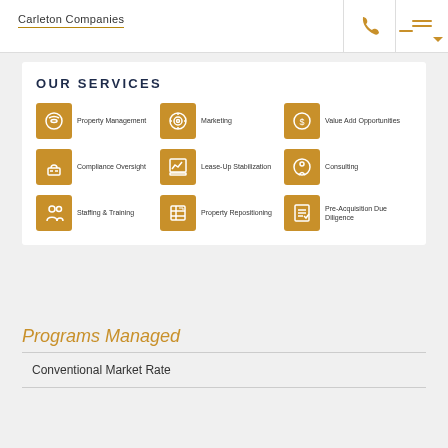Carleton Companies
OUR SERVICES
Property Management
Marketing
Value Add Opportunities
Compliance Oversight
Lease-Up Stabilization
Consulting
Staffing & Training
Property Repositioning
Pre-Acquisition Due Diligence
Programs Managed
Conventional Market Rate